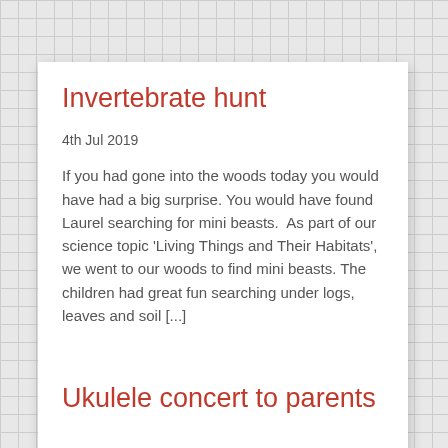Invertebrate hunt
4th Jul 2019
If you had gone into the woods today you would have had a big surprise. You would have found Laurel searching for mini beasts.  As part of our science topic 'Living Things and Their Habitats', we went to our woods to find mini beasts. The children had great fun searching under logs, leaves and soil [...]
Ukulele concert to parents